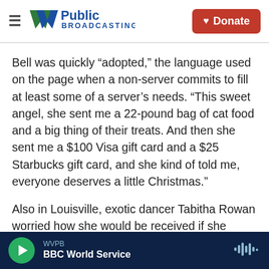WVPB Public Broadcasting | Donate
Bell was quickly “adopted,” the language used on the page when a non-server commits to fill at least some of a server’s needs. “This sweet angel, she sent me a 22-pound bag of cat food and a big thing of their treats. And then she sent me a $100 Visa gift card and a $25 Starbucks gift card, and she kind of told me, everyone deserves a little Christmas.”
Also in Louisville, exotic dancer Tabitha Rowan worried how she would be received if she posted to Adopt a Server. But, she reasoned, closed mouths don’t get fed. “Here I am, you know, am I going to
WVPB | BBC World Service